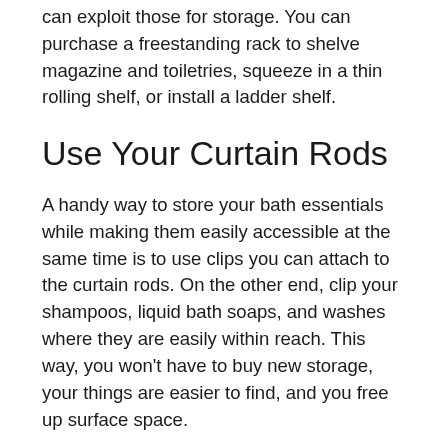can exploit those for storage. You can purchase a freestanding rack to shelve magazine and toiletries, squeeze in a thin rolling shelf, or install a ladder shelf.
Use Your Curtain Rods
A handy way to store your bath essentials while making them easily accessible at the same time is to use clips you can attach to the curtain rods. On the other end, clip your shampoos, liquid bath soaps, and washes where they are easily within reach. This way, you won't have to buy new storage, your things are easier to find, and you free up surface space.
Breath Life into a Small Space Using Plants